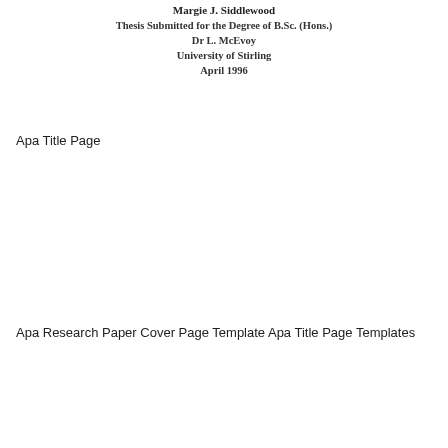Margie J. Siddlewood
Thesis Submitted for the Degree of B.Sc. (Hons.)
Dr L. McEvoy
University of Stirling
April 1996
Apa Title Page
Apa Research Paper Cover Page Template Apa Title Page Templates